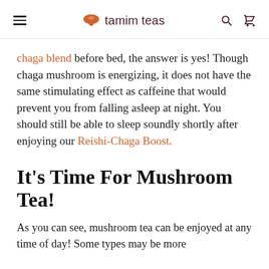tamim teas
chaga blend before bed, the answer is yes! Though chaga mushroom is energizing, it does not have the same stimulating effect as caffeine that would prevent you from falling asleep at night. You should still be able to sleep soundly shortly after enjoying our Reishi-Chaga Boost.
It's Time For Mushroom Tea!
As you can see, mushroom tea can be enjoyed at any time of day! Some types may be more